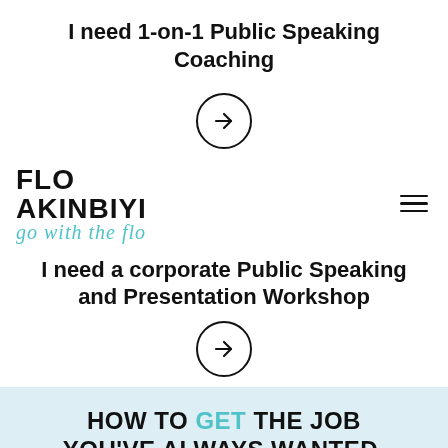I need 1-on-1 Public Speaking Coaching
[Figure (other): Circle with right-pointing arrow icon (navigation button)]
[Figure (logo): Flo Akinbiyi logo - 'FLO AKINBIYI' in bold black uppercase with 'go with the flo' in teal cursive script below, and hamburger menu icon to the right]
I need a corporate Public Speaking and Presentation Workshop
[Figure (other): Circle with right-pointing arrow icon (navigation button)]
HOW TO GET THE JOB YOU'VE ALWAYS WANTED, WIN NEW CLIENTS AND